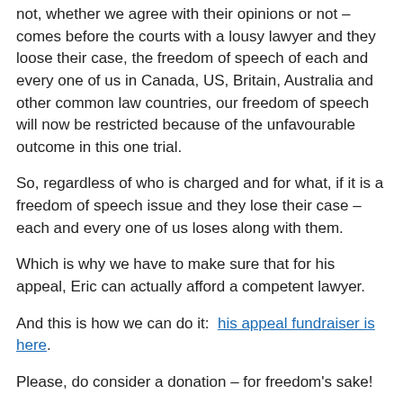not, whether we agree with their opinions or not – comes before the courts with a lousy lawyer and they loose their case, the freedom of speech of each and every one of us in Canada, US, Britain, Australia and other common law countries, our freedom of speech will now be restricted because of the unfavourable outcome in this one trial.
So, regardless of who is charged and for what, if it is a freedom of speech issue and they lose their case – each and every one of us loses along with them.
Which is why we have to make sure that for his appeal, Eric can actually afford a competent lawyer.
And this is how we can do it:  his appeal fundraiser is here.
Please, do consider a donation – for freedom's sake!